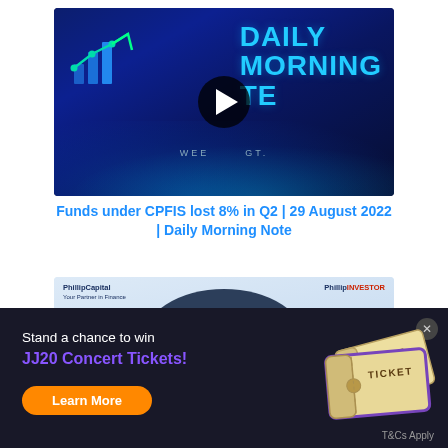[Figure (screenshot): Daily Morning Note video thumbnail with dark blue background, bar chart icon, 'DAILY MORNING NOTE' text in cyan, play button overlay, and wave pattern at bottom]
Funds under CPFIS lost 8% in Q2 | 29 August 2022 | Daily Morning Note
[Figure (screenshot): PhillipCapital thumbnail showing 'How to Plan Your Finances for a Recession' text in a dark circle over a light blue background]
Stand a chance to win
JJ20 Concert Tickets!
Learn More
T&Cs Apply